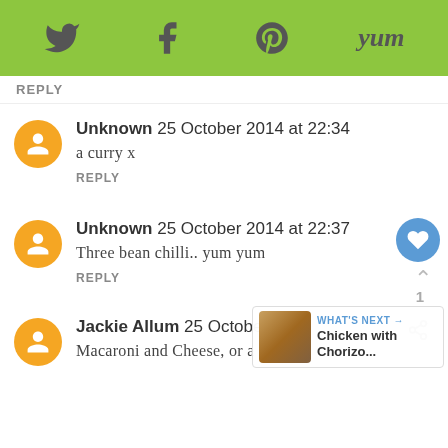Twitter | Facebook | Pinterest | Yum
REPLY
Unknown 25 October 2014 at 22:34
a curry x
REPLY
Unknown 25 October 2014 at 22:37
Three bean chilli.. yum yum
REPLY
Jackie Allum 25 October 2014
Macaroni and Cheese, or a Biriani
WHAT'S NEXT → Chicken with Chorizo...